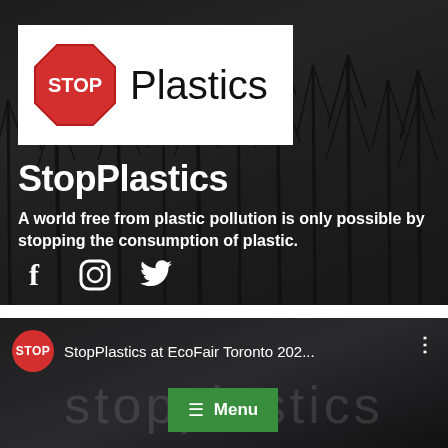[Figure (screenshot): StopPlastics website header screenshot with forest background. Contains logo (stop sign octagon with STOP text and 'Plastics' in handwritten font), site title 'StopPlastics', tagline text, and social media icons for Facebook, Instagram, Twitter.]
StopPlastics
A world free from plastic pollution is only possible by stopping the consumption of plastic.
[Figure (screenshot): Bottom portion showing a video thumbnail with STOP circle logo and text 'StopPlastics at EcoFair Toronto 202...' with three-dot menu icon, and a green Menu button overlay.]